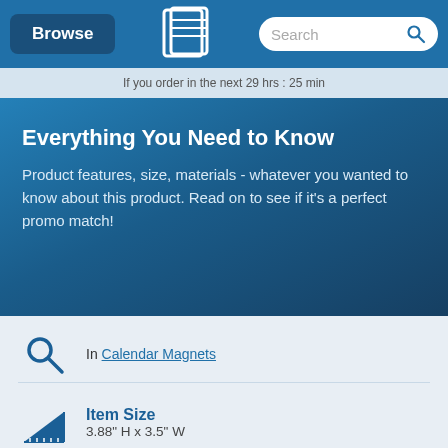Browse | [logo] | Search
If you order in the next 29 hrs : 25 min
Everything You Need to Know
Product features, size, materials - whatever you wanted to know about this product. Read on to see if it's a perfect promo match!
In Calendar Magnets
Item Size
3.88" H x 3.5" W
Maximum Logo Size
3.88" H x 3.5" W